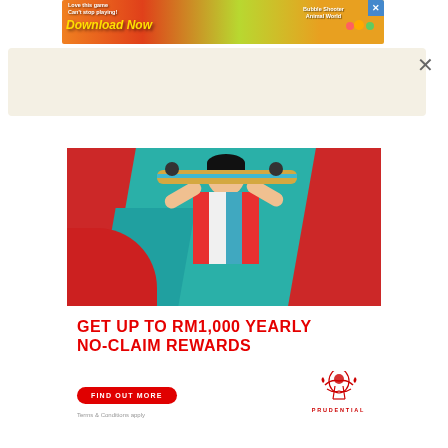[Figure (illustration): Top banner ad: colorful mobile game ad with text 'Love this game Can't stop playing! Download Now' and 'Bubble Shooter Animal World' with game icons and close button.]
[Figure (illustration): Beige/cream colored modal overlay area with an X close button on the right side.]
[Figure (illustration): Prudential insurance advertisement showing a young man holding a skateboard overhead against a red and teal background, with the Prudential logo at bottom right.]
GET UP TO RM1,000 YEARLY NO-CLAIM REWARDS
FIND OUT MORE
Terms & Conditions apply
[Figure (logo): Prudential logo with red emblem figure and PRUDENTIAL text in red.]